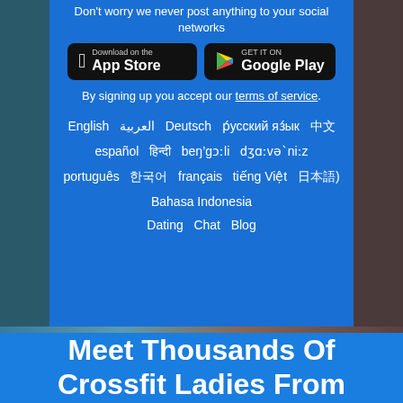Don't worry we never post anything to your social networks
[Figure (screenshot): App Store download button (black, Apple logo)]
[Figure (screenshot): Google Play download button (black, Google Play logo)]
By signing up you accept our terms of service.
English  ??????  Deutsch  р́усский яз́ык  ???  español  ??????  beŋ'gɔːli  dʒɑːvəˈniːz  português  ???  français  tiếng Việt  ???)  Bahasa Indonesia
Dating  Chat  Blog
Meet Thousands Of Crossfit Ladies From